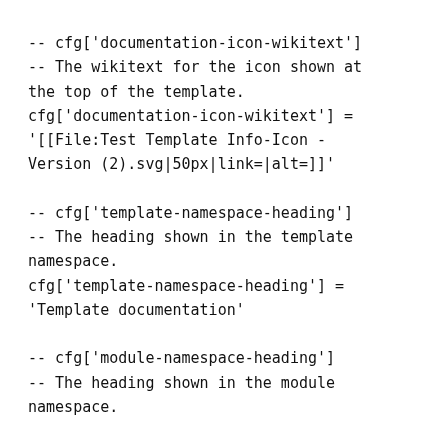-- cfg['documentation-icon-wikitext']
-- The wikitext for the icon shown at the top of the template.
cfg['documentation-icon-wikitext'] =
'[[File:Test Template Info-Icon - Version (2).svg|50px|link=|alt=]]'

-- cfg['template-namespace-heading']
-- The heading shown in the template namespace.
cfg['template-namespace-heading'] =
'Template documentation'

-- cfg['module-namespace-heading']
-- The heading shown in the module namespace.